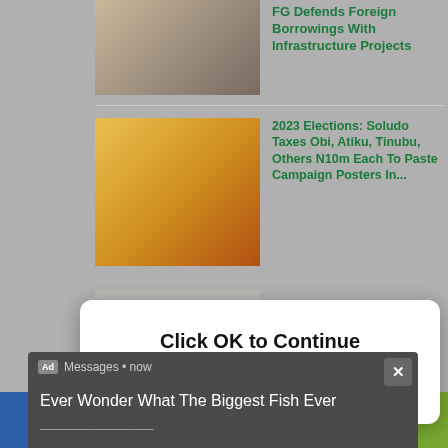FG Defends Foreign Borrowings With Infrastructure Projects
[Figure (photo): Portrait photo of a man in a light suit]
2023 Elections: Soludo Taxes Obi, Atiku, Tinubu, Others N10m Each To Paste Campaign Posters In...
[Figure (photo): Man in colorful traditional attire speaking into microphone]
2023 Elections: Be Mindful Of Our Unity And Stability – Jonathan Warns Political Parties...
[Figure (screenshot): Modal dialog overlay: Click OK to Continue with OK and Dismiss buttons]
[Figure (screenshot): Ad banner: Messages • now — Ever Wonder What The Biggest Fish Ever]
Ad Messages • now
Ever Wonder What The Biggest Fish Ever